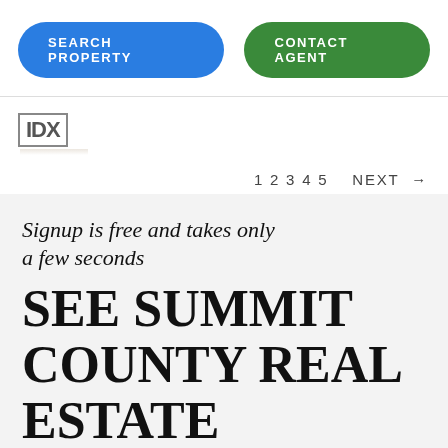SEARCH PROPERTY
CONTACT AGENT
[Figure (logo): IDX logo with bold text in a bordered box]
1 2 3 4 5   NEXT →
Signup is free and takes only a few seconds
SEE SUMMIT COUNTY REAL ESTATE LISTINGS